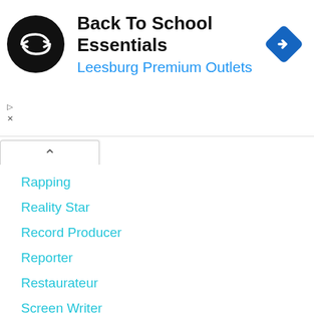[Figure (logo): Ad banner with black circular logo containing double-arrow icon, title 'Back To School Essentials', subtitle 'Leesburg Premium Outlets', and a blue diamond navigation arrow icon on the right]
Rapping
Reality Star
Record Producer
Reporter
Restaurateur
Screen Writer
Screenwriter
Sculptor
Showgirl
Singer